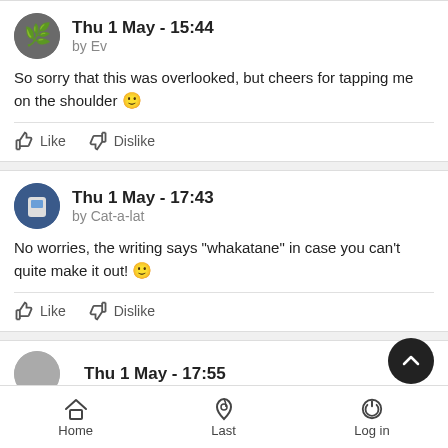Thu 1 May - 15:44 by Ev
So sorry that this was overlooked, but cheers for tapping me on the shoulder 🙂
Like  Dislike
Thu 1 May - 17:43 by Cat-a-lat
No worries, the writing says "whakatane" in case you can't quite make it out! 🙂
Like  Dislike
Thu 1 May - 17:55
Home  Last  Log in